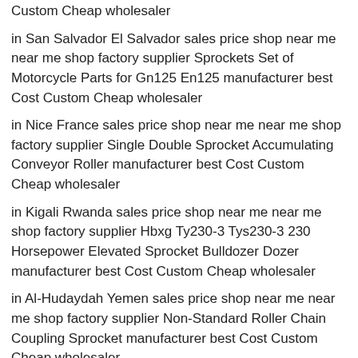Custom Cheap wholesaler
in San Salvador El Salvador sales price shop near me near me shop factory supplier Sprockets Set of Motorcycle Parts for Gn125 En125 manufacturer best Cost Custom Cheap wholesaler
in Nice France sales price shop near me near me shop factory supplier Single Double Sprocket Accumulating Conveyor Roller manufacturer best Cost Custom Cheap wholesaler
in Kigali Rwanda sales price shop near me near me shop factory supplier Hbxg Ty230-3 Tys230-3 230 Horsepower Elevated Sprocket Bulldozer Dozer manufacturer best Cost Custom Cheap wholesaler
in Al-Hudaydah Yemen sales price shop near me near me shop factory supplier Non-Standard Roller Chain Coupling Sprocket manufacturer best Cost Custom Cheap wholesaler
in Warangal India